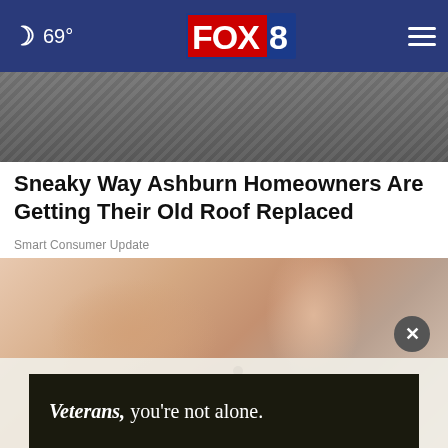69° FOX 8
[Figure (photo): Top portion of article hero image showing damaged roof or ground surface]
Sneaky Way Ashburn Homeowners Are Getting Their Old Roof Replaced
Smart Consumer Update
[Figure (photo): Close-up photo of hands touching skin with a mole visible]
[Figure (photo): Advertisement banner: Veterans, you're not alone. with image of veteran]